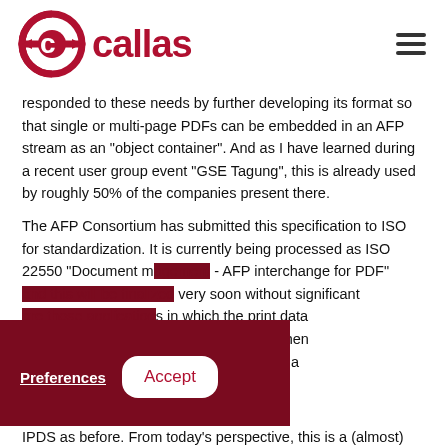callas
responded to these needs by further developing its format so that single or multi-page PDFs can be embedded in an AFP stream as an "object container". And as I have learned during a recent user group event "GSE Tagung", this is already used by roughly 50% of the companies present there.
The AFP Consortium has submitted this specification to ISO for standardization. It is currently being processed as ISO 22550 "Document m... - AFP interchange for PDF" ...very soon without significant ...s in which the print data ...ht service provider, who then ...AFP and outputs them via IPDS as before. From today's perspective, this is a (almost)
Preferences   Accept